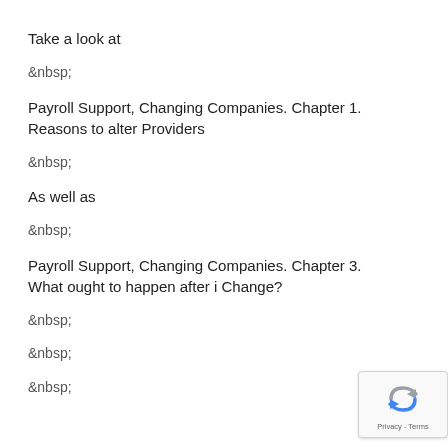Take a look at
&nbsp;
Payroll Support, Changing Companies. Chapter 1. Reasons to alter Providers
&nbsp;
As well as
&nbsp;
Payroll Support, Changing Companies. Chapter 3. What ought to happen after i Change?
&nbsp;
&nbsp;
&nbsp;
[Figure (logo): reCAPTCHA badge with logo and Privacy - Terms text]